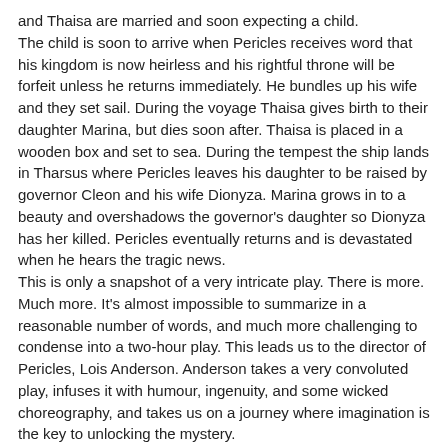and Thaisa are married and soon expecting a child. The child is soon to arrive when Pericles receives word that his kingdom is now heirless and his rightful throne will be forfeit unless he returns immediately. He bundles up his wife and they set sail. During the voyage Thaisa gives birth to their daughter Marina, but dies soon after. Thaisa is placed in a wooden box and set to sea. During the tempest the ship lands in Tharsus where Pericles leaves his daughter to be raised by governor Cleon and his wife Dionyza. Marina grows in to a beauty and overshadows the governor's daughter so Dionyza has her killed. Pericles eventually returns and is devastated when he hears the tragic news. This is only a snapshot of a very intricate play. There is more. Much more. It's almost impossible to summarize in a reasonable number of words, and much more challenging to condense into a two-hour play. This leads us to the director of Pericles, Lois Anderson. Anderson takes a very convoluted play, infuses it with humour, ingenuity, and some wicked choreography, and takes us on a journey where imagination is the key to unlocking the mystery. The play jumps around a bit, chronologically, and is missing a character or two but who cares. It works, and it works on a grand scale.